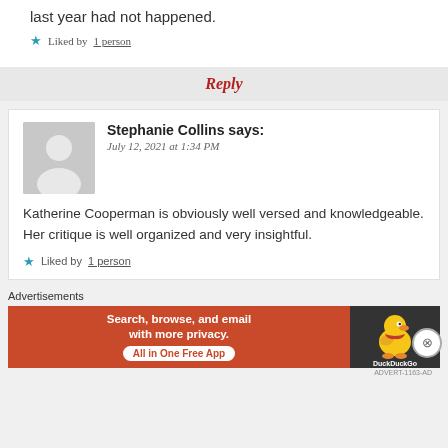last year had not happened.
Liked by 1 person
Reply
Stephanie Collins says:
July 12, 2021 at 1:34 PM
Katherine Cooperman is obviously well versed and knowledgeable. Her critique is well organized and very insightful.
Liked by 1 person
Advertisements
[Figure (infographic): DuckDuckGo advertisement banner: orange section with text 'Search, browse, and email with more privacy. All in One Free App' and dark section with DuckDuckGo duck logo]